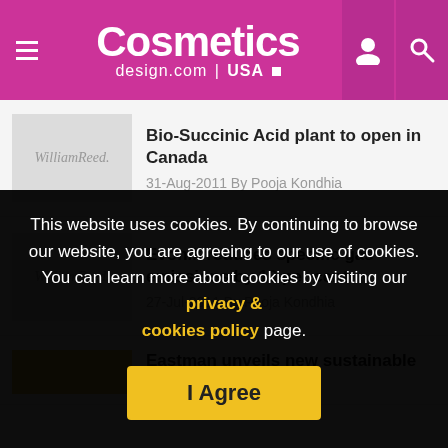Cosmetics design.com | USA
Bio-Succinic Acid plant to open in Canada
31-Aug-2011 By Pooja Kondhia
Evonik reduces specific gas emissions by 16 per cent
27-Jul-2011 By Pooja Kondhia
Eastman unveils new sustainable
This website uses cookies. By continuing to browse our website, you are agreeing to our use of cookies. You can learn more about cookies by visiting our privacy & cookies policy page.
I Agree